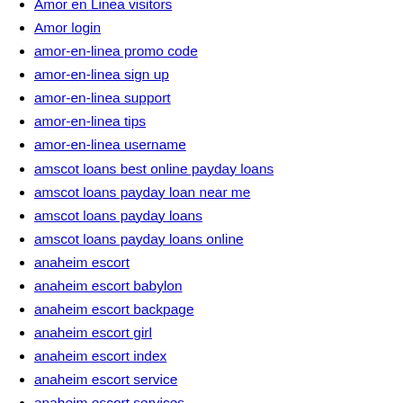Amor en Linea visitors
Amor login
amor-en-linea promo code
amor-en-linea sign up
amor-en-linea support
amor-en-linea tips
amor-en-linea username
amscot loans best online payday loans
amscot loans payday loan near me
amscot loans payday loans
amscot loans payday loans online
anaheim escort
anaheim escort babylon
anaheim escort backpage
anaheim escort girl
anaheim escort index
anaheim escort service
anaheim escort services
Anal Guys Web Cam Live
Anal Guys XXX
Anal Guys XXX Web Cams Chat Room
Anal Play Real Sex Cam
Anal Play Real Sex Chat
Anal Play XXX Cam Chat Room